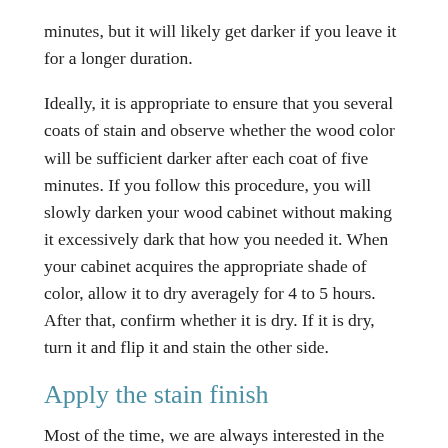minutes, but it will likely get darker if you leave it for a longer duration.
Ideally, it is appropriate to ensure that you several coats of stain and observe whether the wood color will be sufficient darker after each coat of five minutes. If you follow this procedure, you will slowly darken your wood cabinet without making it excessively dark that how you needed it. When your cabinet acquires the appropriate shade of color, allow it to dry averagely for 4 to 5 hours. After that, confirm whether it is dry. If it is dry, turn it and flip it and stain the other side.
Apply the stain finish
Most of the time, we are always interested in the